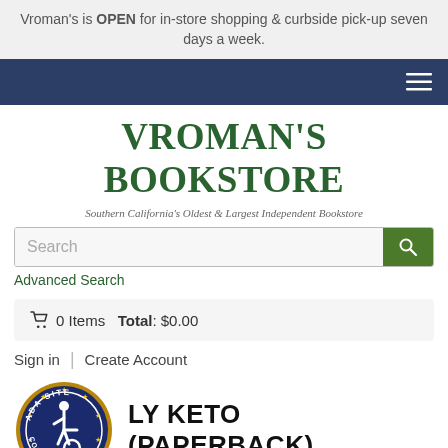Vroman's is OPEN for in-store shopping & curbside pick-up seven days a week.
[Figure (screenshot): Dark navy navigation bar with hamburger menu icon on the right]
VROMAN'S BOOKSTORE
Southern California's Oldest & Largest Independent Bookstore
Search
Advanced Search
0 Items   Total: $0.00
Sign in  |  Create Account
[Figure (logo): ADA Site Compliance badge — circular blue and gold seal with wheelchair accessibility icon]
LY KETO (PAPERBACK)